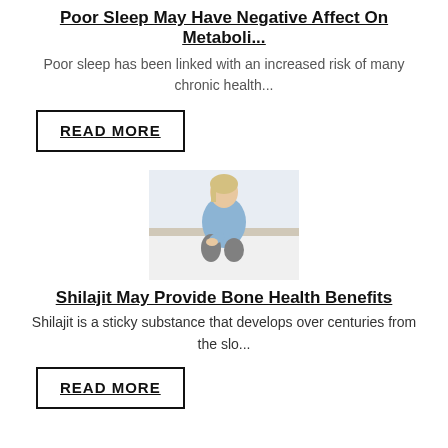Poor Sleep May Have Negative Affect On Metaboli...
Poor sleep has been linked with an increased risk of many chronic health...
READ MORE
[Figure (photo): Woman sitting on bed holding her knee, depicting bone/joint pain]
Shilajit May Provide Bone Health Benefits
Shilajit is a sticky substance that develops over centuries from the slo...
READ MORE